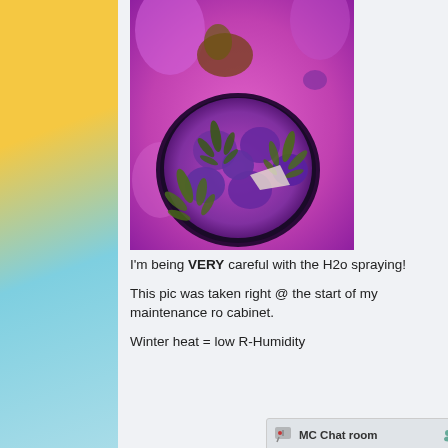[Figure (photo): Photo of cannabis seedlings in a circular hydroponic tray under purple/pink LED grow lights, with reflective Mylar walls visible in the background]
I'm being VERY careful with the H2o spraying!
This pic was taken right @ the start of my maintenance ro cabinet.
Winter heat = low R-Humidity